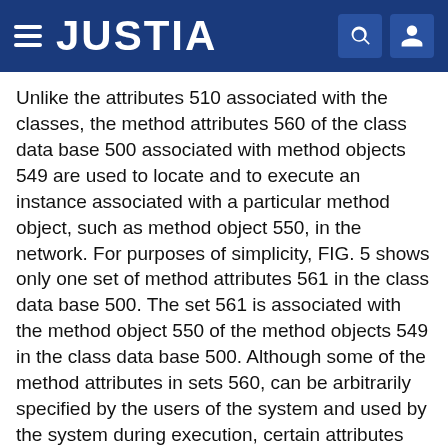JUSTIA
Unlike the attributes 510 associated with the classes, the method attributes 560 of the class data base 500 associated with method objects 549 are used to locate and to execute an instance associated with a particular method object, such as method object 550, in the network. For purposes of simplicity, FIG. 5 shows only one set of method attributes 561 in the class data base 500. The set 561 is associated with the method object 550 of the method objects 549 in the class data base 500. Although some of the method attributes in sets 560, can be arbitrarily specified by the users of the system and used by the system during execution, certain attributes are critical to the operation.
As shown in FIG. 5, the method attributes in set 561 includes PlatformType=80286.MS-DOS, InteractionType=BUILT.sub.-- IN, and